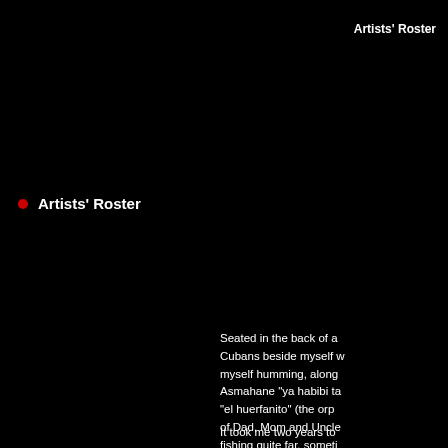Artists' Roster
Artists' Roster
Seated in the back of a Cubans beside myself w myself humming, along Asmahane "ya habibi ta "el huerfanito" (the orp of Dad, Mom and Uncle fishing quite far, someti introduction is not to sta tell) but to explain how  Cuban music. Arabo-Cu
It took me two years to